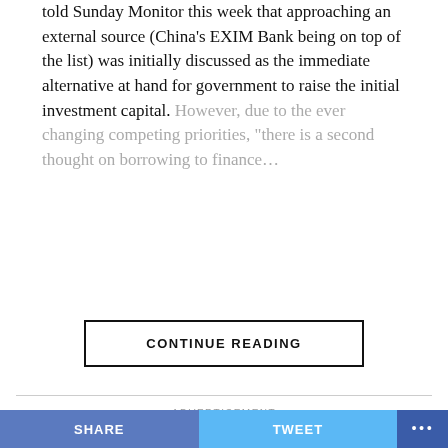told Sunday Monitor this week that approaching an external source (China's EXIM Bank being on top of the list) was initially discussed as the immediate alternative at hand for government to raise the initial investment capital. However, due to the ever changing competing priorities, "there is a second thought on borrowing to finance…"
CONTINUE READING
ADVERTISEMENT
[Figure (illustration): Amazon trade-in advertisement showing Amazon logo with arrow, text 'trade-in', 'Get up to $35 off a new Fire TV device', and an image of a Fire TV device on a teal/dark green background]
SHARE   TWEET   ...